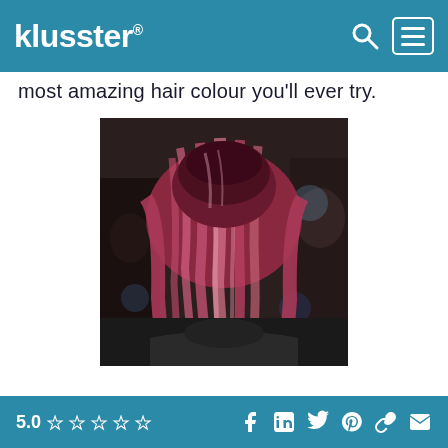klusster®
most amazing hair colour you'll ever try.
[Figure (photo): Back view of a person with medium-length reddish-pink hair colour, sitting in a hair salon with salon equipment visible in the background.]
5.0 ☆☆☆☆☆  [Facebook] [LinkedIn] [Twitter] [Pinterest] [Link] [Email]